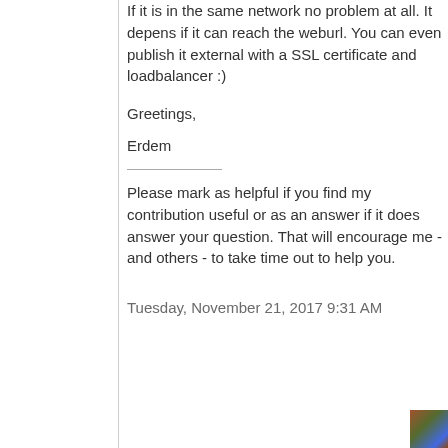If it is in the same network no problem at all. It depens if it can reach the weburl. You can even publish it external with a SSL certificate and loadbalancer :)
Greetings,
Erdem
Please mark as helpful if you find my contribution useful or as an answer if it does answer your question. That will encourage me - and others - to take time out to help you.
Tuesday, November 21, 2017 9:31 AM